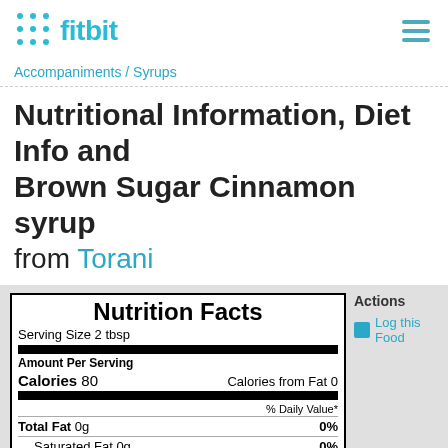fitbit
Accompaniments / Syrups
Nutritional Information, Diet Info and Calories - Brown Sugar Cinnamon syrup from Torani
| Nutrient | Amount | % Daily Value |
| --- | --- | --- |
| Serving Size 2 tbsp |  |  |
| Amount Per Serving |  |  |
| Calories 80 | Calories from Fat 0 |  |
| % Daily Value* |  |  |
| Total Fat 0g |  | 0% |
| Saturated Fat 0g |  | 0% |
| Trans Fat 0g |  |  |
| Cholesterol 0mg |  | 0% |
| Sodium 8mg |  | 0% |
| Potassium 0mg |  | 0% |
Actions
Log this Food